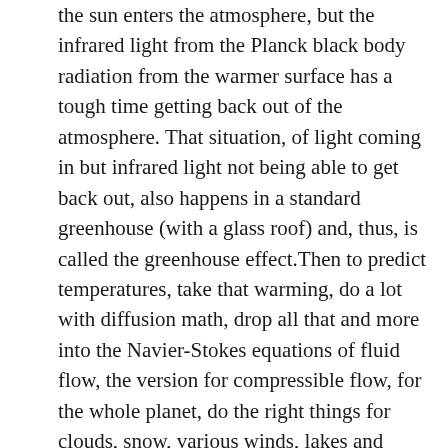the sun enters the atmosphere, but the infrared light from the Planck black body radiation from the warmer surface has a tough time getting back out of the atmosphere. That situation, of light coming in but infrared light not being able to get back out, also happens in a standard greenhouse (with a glass roof) and, thus, is called the greenhouse effect.Then to predict temperatures, take that warming, do a lot with diffusion math, drop all that and more into the Navier-Stokes equations of fluid flow, the version for compressible flow, for the whole planet, do the right things for clouds, snow, various winds, lakes and oceans, handle radiation from earth into outer space, under conditions of night and day, cloudy or clear, handle the similar greenhouse effects of water vapor, handle water vapor from